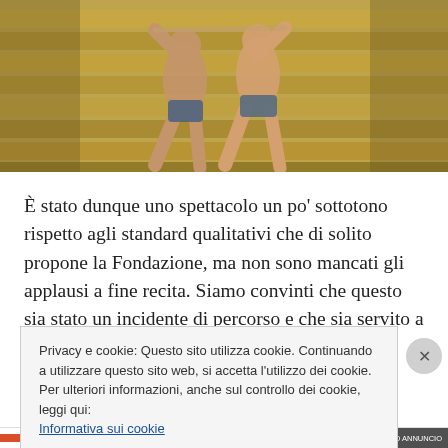[Figure (photo): Two performers/dancers on a stage with bleacher-style yellow stone steps in the background. The figures appear to be in ancient-style costumes, performing a dramatic pose.]
È stato dunque uno spettacolo un po' sottotono rispetto agli standard qualitativi che di solito propone la Fondazione, ma non sono mancati gli applausi a fine recita. Siamo convinti che questo sia stato un incidente di percorso e che sia servito a scaldare i motori, e siamo certi che le prossime recite saranno degne della fama di
Privacy e cookie: Questo sito utilizza cookie. Continuando a utilizzare questo sito web, si accetta l'utilizzo dei cookie.
Per ulteriori informazioni, anche sul controllo dei cookie, leggi qui:
Informativa sui cookie
Chiudi e accetta